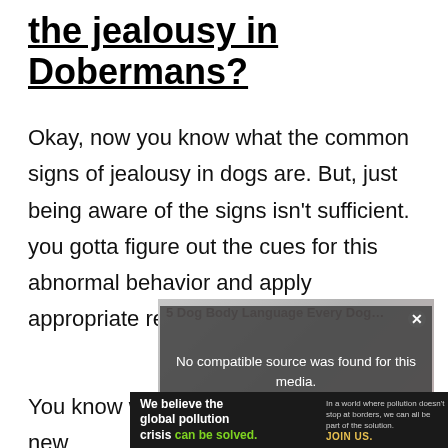the jealousy in Dobermans?
Okay, now you know what the common signs of jealousy in dogs are. But, just being aware of the signs isn't sufficient. you gotta figure out the cues for this abnormal behavior and apply appropriate remedies.
[Figure (screenshot): Video player overlay showing 'No compatible source was found for this media.' message on a dark semi-transparent background, over a blurred dog body language thumbnail image.]
You know what, dogs cannot adapt to new
[Figure (screenshot): Advertisement banner for Pure Earth: 'We believe the global pollution crisis can be solved. In a world where pollution doesn't stop at borders, we can all be part of the solution. JOIN US.' with Pure Earth logo.]